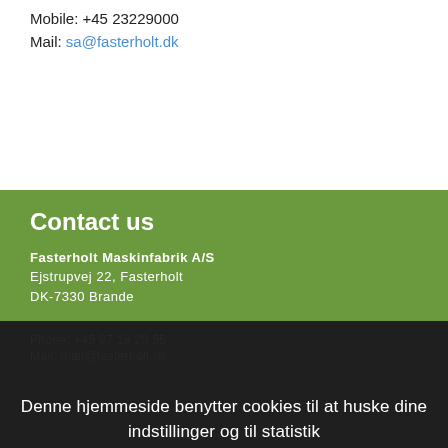Mobile: +45 23229000
Mail: sa@fasterholt.dk
Contact us
Fasterholt Maskinfabrik A/S
Ejstrupvej 22, Fasterholt
DK-7330 Brande
Phone: +45 97 18 20 55
Mail: mail@fasterholt.dk
Denne hjemmeside benytter cookies til at huske dine indstillinger og til statistik
Accepter
Læs mere